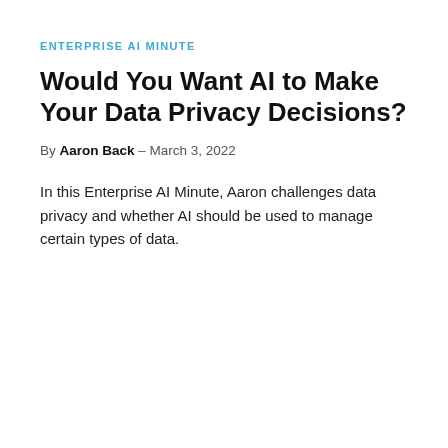ENTERPRISE AI MINUTE
Would You Want AI to Make Your Data Privacy Decisions?
By Aaron Back – March 3, 2022
In this Enterprise AI Minute, Aaron challenges data privacy and whether AI should be used to manage certain types of data.